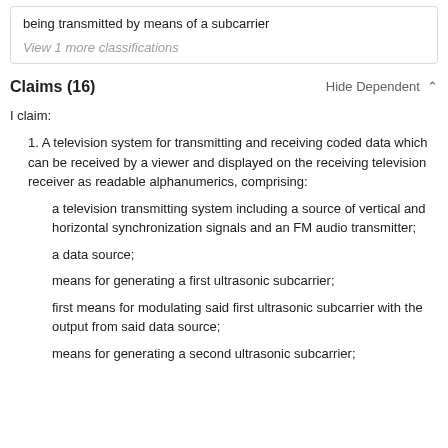being transmitted by means of a subcarrier
View 1 more classifications
Claims (16)
Hide Dependent ^
I claim:
1. A television system for transmitting and receiving coded data which can be received by a viewer and displayed on the receiving television receiver as readable alphanumerics, comprising:
a television transmitting system including a source of vertical and horizontal synchronization signals and an FM audio transmitter;
a data source;
means for generating a first ultrasonic subcarrier;
first means for modulating said first ultrasonic subcarrier with the output from said data source;
means for generating a second ultrasonic subcarrier;